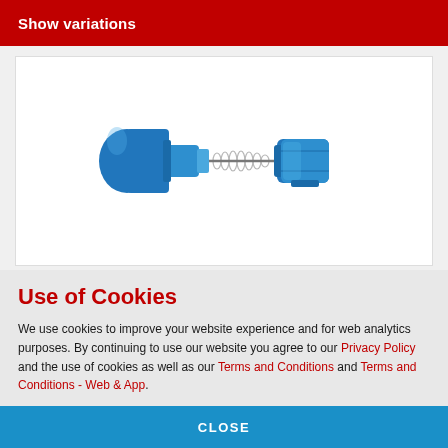Show variations
[Figure (photo): Blue plastic push-in fitting connector components: a bullet-shaped blue plug on the left, a metal spiral/brush connector in the middle, and a blue hexagonal coupling nut on the right, shown in exploded view against a white background.]
Use of Cookies
We use cookies to improve your website experience and for web analytics purposes. By continuing to use our website you agree to our Privacy Policy and the use of cookies as well as our Terms and Conditions and Terms and Conditions - Web & App.
CLOSE